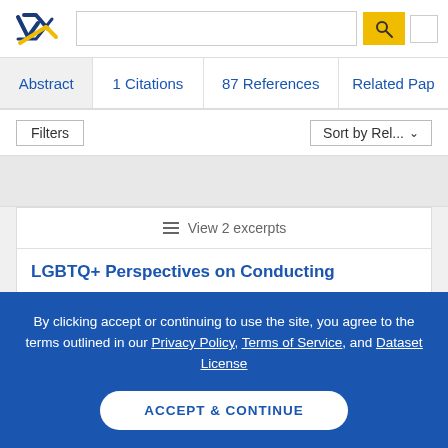Semantic Scholar header with logo, search box, and search button
Abstract | 1 Citations | 87 References | Related Pap...
Filters   Sort by Rel... ˅
≡ View 2 excerpts
LGBTQ+ Perspectives on Conducting
By clicking accept or continuing to use the site, you agree to the terms outlined in our Privacy Policy, Terms of Service, and Dataset License
ACCEPT & CONTINUE